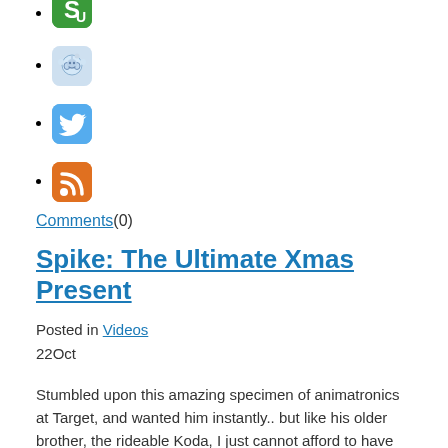[StumbleUpon icon]
[Reddit icon]
[Twitter icon]
[RSS icon]
Comments(0)
Spike: The Ultimate Xmas Present
Posted in Videos
22Oct
Stumbled upon this amazing specimen of animatronics at Target, and wanted him instantly.. but like his older brother, the rideable Koda, I just cannot afford to have him nor do I have the living space for him to inhabit. I can’t have a dino like this and leave him cooped up. So in this plastic […]